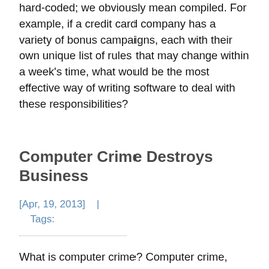hard-coded; we obviously mean compiled. For example, if a credit card company has a variety of bonus campaigns, each with their own unique list of rules that may change within a week's time, what would be the most effective way of writing software to deal with these responsibilities?
Computer Crime Destroys Business
[Apr, 19, 2013]   |   Tags:
What is computer crime? Computer crime, often called “cyber crime” is any type of illegal activity that takes place on a computer with a network. Oftentimes, when you think of